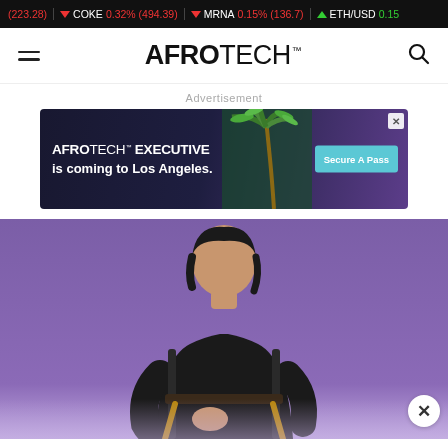223.28 | COKE 0.32% (494.39) | MRNA 0.15% (136.7) | ETH/USD 0.15
AFROTECH™
Advertisement
[Figure (screenshot): AFROTECH EXECUTIVE is coming to Los Angeles. Secure A Pass advertisement banner with palm tree background.]
[Figure (photo): Woman with black hair wearing black clothing seated in a director's chair against a purple background.]